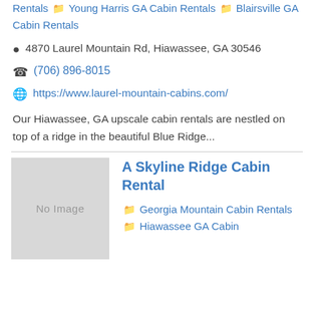Rentals  Young Harris GA Cabin Rentals  Blairsville GA Cabin Rentals
4870 Laurel Mountain Rd, Hiawassee, GA 30546
(706) 896-8015
https://www.laurel-mountain-cabins.com/
Our Hiawassee, GA upscale cabin rentals are nestled on top of a ridge in the beautiful Blue Ridge...
A Skyline Ridge Cabin Rental
Georgia Mountain Cabin Rentals  Hiawassee GA Cabin